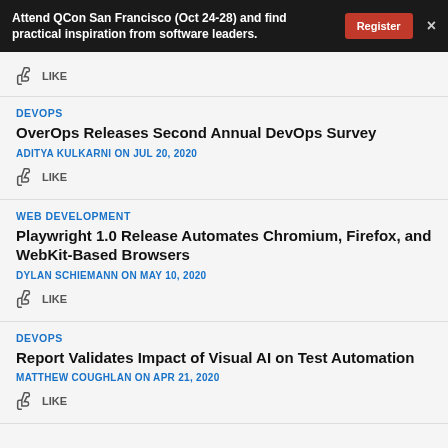Attend QCon San Francisco (Oct 24-28) and find practical inspiration from software leaders. Register ×
LIKE (partial item)
DEVOPS
OverOps Releases Second Annual DevOps Survey
ADITYA KULKARNI ON JUL 20, 2020
LIKE
WEB DEVELOPMENT
Playwright 1.0 Release Automates Chromium, Firefox, and WebKit-Based Browsers
DYLAN SCHIEMANN ON MAY 10, 2020
LIKE
DEVOPS
Report Validates Impact of Visual AI on Test Automation
MATTHEW COUGHLAN ON APR 21, 2020
LIKE